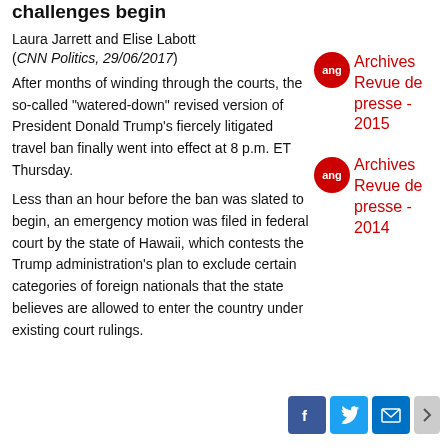challenges begin
Laura Jarrett and Elise Labott (CNN Politics, 29/06/2017)
After months of winding through the courts, the so-called "watered-down" revised version of President Donald Trump's fiercely litigated travel ban finally went into effect at 8 p.m. ET Thursday.
Less than an hour before the ban was slated to begin, an emergency motion was filed in federal court by the state of Hawaii, which contests the Trump administration's plan to exclude certain categories of foreign nationals that the state believes are allowed to enter the country under existing court rulings.
Archives Revue de presse - 2015
Archives Revue de presse - 2014